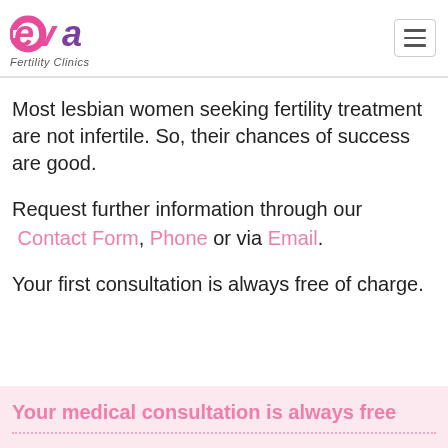eva Fertility Clinics
Most lesbian women seeking fertility treatment are not infertile. So, their chances of success are good.
Request further information through our Contact Form, Phone or via Email.
Your first consultation is always free of charge.
Your medical consultation is always free